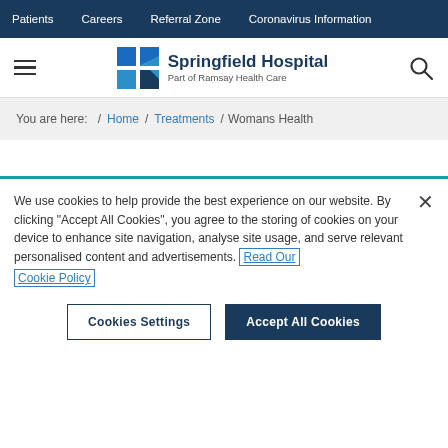Patients | Careers | Referral Zone | Coronavirus Information
[Figure (logo): Springfield Hospital logo with blue grid squares and text 'Springfield Hospital, Part of Ramsay Health Care']
You are here: / Home / Treatments / Womans Health
We use cookies to help provide the best experience on our website. By clicking "Accept All Cookies", you agree to the storing of cookies on your device to enhance site navigation, analyse site usage, and serve relevant personalised content and advertisements. Read Our Cookie Policy
Cookies Settings | Accept All Cookies